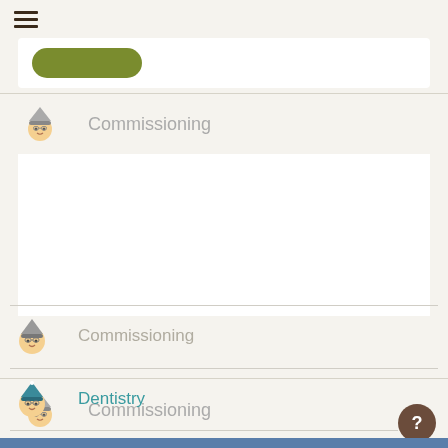[Figure (illustration): Hamburger menu icon (three horizontal lines) in the top-left corner]
[Figure (illustration): White card strip with a green rounded button placeholder]
Watch our 2 minute promo video!
[Figure (screenshot): White video player area below the promo banner]
Commissioning
Dentistry
Education
[Figure (illustration): Circular help button with question mark in bottom-right corner]